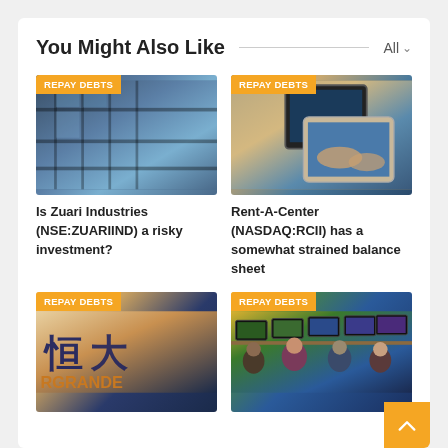You Might Also Like
[Figure (photo): Glass building exterior with steel beams, viewed from below]
REPAY DEBTS
Is Zuari Industries (NSE:ZUARIIND) a risky investment?
[Figure (photo): Person using a touchscreen tablet device]
REPAY DEBTS
Rent-A-Center (NASDAQ:RCII) has a somewhat strained balance sheet
[Figure (photo): Evergrande sign with Chinese characters]
REPAY DEBTS
[Figure (photo): Stock traders working at computer terminals in a trading room]
REPAY DEBTS